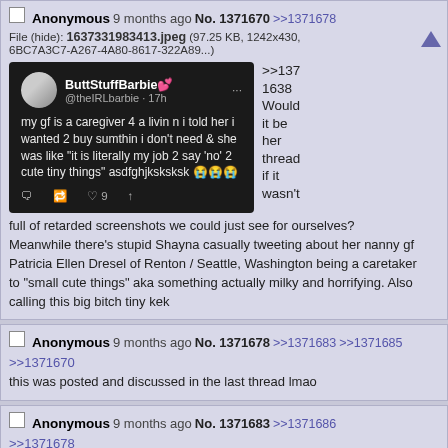Anonymous 9 months ago No. 1371670 >>1371678
File (hide): 1637331983413.jpeg (97.25 KB, 1242x430, 6BC7A3C7-A267-4A80-8617-322A89...)
[Tweet screenshot: ButtStuffBarbie @theIRLbarbie 17h - my gf is a caregiver 4 a livin n i told her i wanted 2 buy sumthin i don't need & she was like "it is literally my job 2 say 'no' 2 cute tiny things" asdfghjksksksk]
>>1371638 Would it be her thread if it wasn't full of retarded screenshots we could just see for ourselves? Meanwhile there's stupid Shayna casually tweeting about her nanny gf Patricia Ellen Dresel of Renton / Seattle, Washington being a caretaker to "small cute things" aka something actually milky and horrifying. Also calling this big bitch tiny kek
Anonymous 9 months ago No. 1371678 >>1371683 >>1371685
>>1371670
this was posted and discussed in the last thread lmao
Anonymous 9 months ago No. 1371683 >>1371686
>>1371678
It's about to get reposted and discussed ad nauseum as retarded cow tippers try to work up the nerve to contact one of the families Ellen works for. Get ready for more Ellen-foiling.